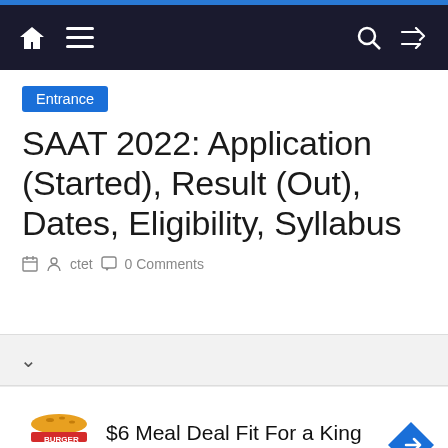Navigation bar with home, menu, search, shuffle icons
Entrance
SAAT 2022: Application (Started), Result (Out), Dates, Eligibility, Syllabus
ctet  0 Comments
[Figure (screenshot): Burger King advertisement: $6 Meal Deal Fit For a King, Burger King]
$6 Meal Deal Fit For a King
Burger King